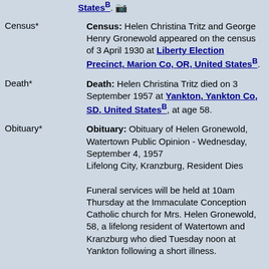States B. [camera icon]
Census*
Census: Helen Christina Tritz and George Henry Gronewold appeared on the census of 3 April 1930 at Liberty Election Precinct, Marion Co, OR, United States B.
Death*
Death: Helen Christina Tritz died on 3 September 1957 at Yankton, Yankton Co, SD, United States B, at age 58.
Obituary*
Obituary: Obituary of Helen Gronewold, Watertown Public Opinion - Wednesday, September 4, 1957
Lifelong City, Kranzburg, Resident Dies

Funeral services will be held at 10am Thursday at the Immaculate Conception Catholic church for Mrs. Helen Gronewold, 58, a lifelong resident of Watertown and Kranzburg who died Tuesday noon at Yankton following a short illness.

A rosary service will be held at 8:15pm tonight at the Mathiesen, Gergen and